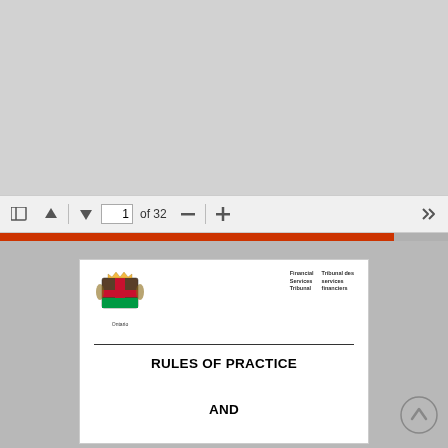[Figure (screenshot): PDF viewer toolbar showing page 1 of 32, with navigation icons, zoom controls, and an orange scroll indicator bar]
[Figure (logo): Ontario coat of arms with shield and supporters, labeled Ontario below]
Financial Services Tribunal
Tribunal des services financiers
RULES OF PRACTICE

AND

PROCEDURE